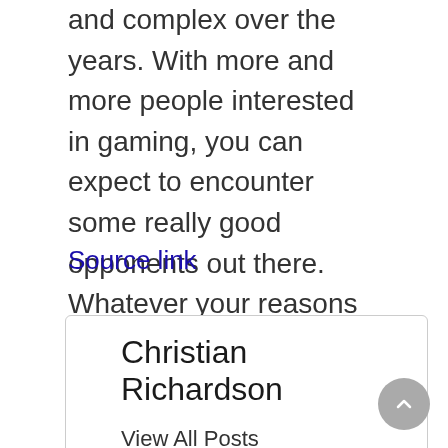and complex over the years. With more and more people interested in gaming, you can expect to encounter some really good opponents out there. Whatever your reasons for becoming an avid gamer, the above few tips can help you excel at the skill.
Source link
Christian Richardson
View All Posts